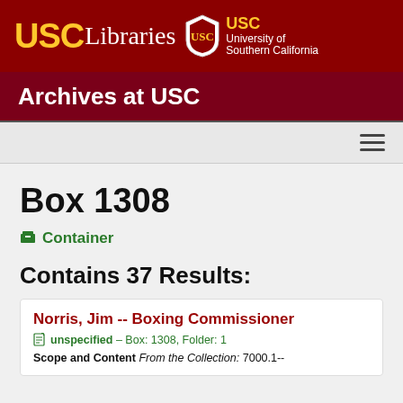[Figure (logo): USC Libraries and University of Southern California logo on dark red header bar]
Archives at USC
Box 1308
Container
Contains 37 Results:
Norris, Jim -- Boxing Commissioner unspecified – Box: 1308, Folder: 1 Scope and Content From the Collection: 7000.1--